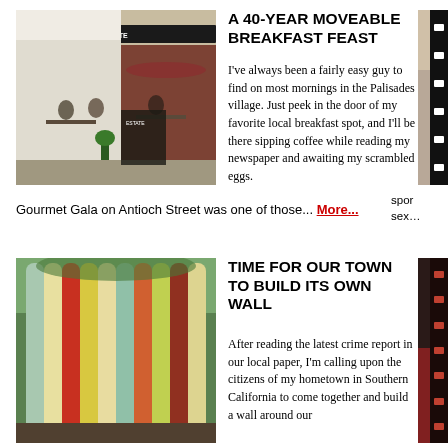[Figure (photo): Outdoor cafe scene with people sitting at tables on a street, red brick building with ESTATE signage visible]
A 40-YEAR MOVEABLE BREAKFAST FEAST
I've always been a fairly easy guy to find on most mornings in the Palisades village. Just peek in the door of my favorite local breakfast spot, and I'll be there sipping coffee while reading my newspaper and awaiting my scrambled eggs.
Gourmet Gala on Antioch Street was one of those... More...
spor sex...
[Figure (photo): Row of colorful surfboards leaning against a fence/wall outdoors]
TIME FOR OUR TOWN TO BUILD ITS OWN WALL
After reading the latest crime report in our local paper, I'm calling upon the citizens of my hometown in Southern California to come together and build a wall around our
[Figure (photo): Partial film strip image visible on right side, dark background with red element]